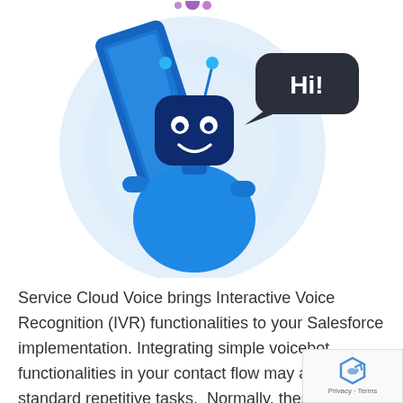[Figure (illustration): A cartoon blue robot chatbot holding a large blue smartphone/tablet, with a dark speech bubble saying 'Hi!' in white text. The robot has antenna, white eyes, and a smile. Background is a light blue circular gradient.]
Service Cloud Voice brings Interactive Voice Recognition (IVR) functionalities to your Salesforce implementation. Integrating simple voicebot functionalities in your contact flow may automate standard repetitive tasks.  Normally, these tasks